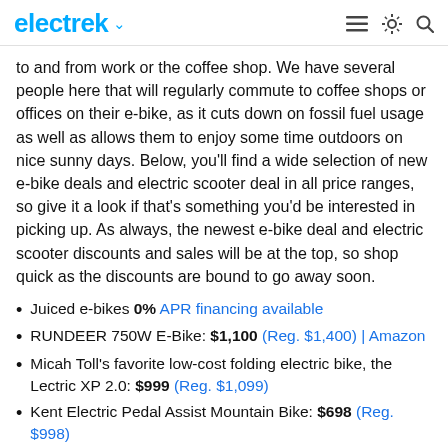electrek
to and from work or the coffee shop. We have several people here that will regularly commute to coffee shops or offices on their e-bike, as it cuts down on fossil fuel usage as well as allows them to enjoy some time outdoors on nice sunny days. Below, you'll find a wide selection of new e-bike deals and electric scooter deal in all price ranges, so give it a look if that's something you'd be interested in picking up. As always, the newest e-bike deal and electric scooter discounts and sales will be at the top, so shop quick as the discounts are bound to go away soon.
Juiced e-bikes 0% APR financing available
RUNDEER 750W E-Bike: $1,100 (Reg. $1,400) | Amazon
Micah Toll's favorite low-cost folding electric bike, the Lectric XP 2.0: $999 (Reg. $1,099)
Kent Electric Pedal Assist Mountain Bike: $698 (Reg. $998)
Gotrax's just-released G MAX electric scooter sees first